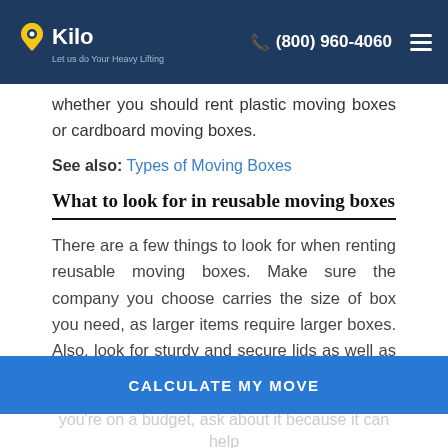Kilo — Let us do Your Heavy Lifting | (800) 960-4060
whether you should rent plastic moving boxes or cardboard moving boxes.
See also: Types of Moving Boxes
What to look for in reusable moving boxes
There are a few things to look for when renting reusable moving boxes. Make sure the company you choose carries the size of box you need, as larger items require larger boxes. Also, look for sturdy and secure lids as well as handles that will allow for easy lifting and carrying. If the company offers packing supplies such as tape or
CALCULATE MY MOVE
you're on a budget, ask about it because it can help